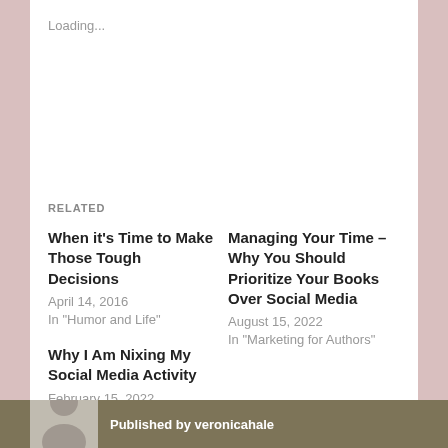Loading...
RELATED
When it's Time to Make Those Tough Decisions
April 14, 2016
In "Humor and Life"
Managing Your Time – Why You Should Prioritize Your Books Over Social Media
August 15, 2022
In "Marketing for Authors"
Why I Am Nixing My Social Media Activity
February 15, 2022
In "Marketing for Authors"
Published by veronicahale